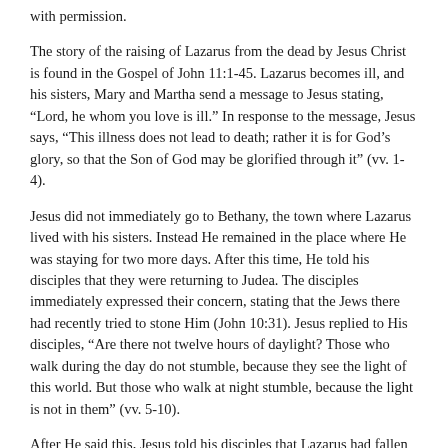with permission.
The story of the raising of Lazarus from the dead by Jesus Christ is found in the Gospel of John 11:1-45. Lazarus becomes ill, and his sisters, Mary and Martha send a message to Jesus stating, “Lord, he whom you love is ill.” In response to the message, Jesus says, “This illness does not lead to death; rather it is for God’s glory, so that the Son of God may be glorified through it” (vv. 1-4).
Jesus did not immediately go to Bethany, the town where Lazarus lived with his sisters. Instead He remained in the place where He was staying for two more days. After this time, He told his disciples that they were returning to Judea. The disciples immediately expressed their concern, stating that the Jews there had recently tried to stone Him (John 10:31). Jesus replied to His disciples, “Are there not twelve hours of daylight? Those who walk during the day do not stumble, because they see the light of this world. But those who walk at night stumble, because the light is not in them” (vv. 5-10).
After He said this, Jesus told his disciples that Lazarus had fallen asleep and that He was going there to wake him. The disciples wondered why He would go to wake Lazarus, since it was good for him to sleep if he was ill. Jesus, however, was referring to the death of Lazarus, and thus told the disciples directly that Lazarus was dead (vv. 11-14).